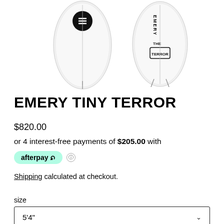[Figure (photo): Two white surfboards shown from front and back angles. Left board shows a circular logo with three lines. Right board shows 'EMERY' text vertically and a skull/logo mark. Both are white with fins visible.]
EMERY TINY TERROR
$820.00
or 4 interest-free payments of $205.00 with
[Figure (logo): Afterpay logo badge in mint green with afterpay text and circular arrow icon, followed by an info circle icon]
Shipping calculated at checkout.
size
5'4"